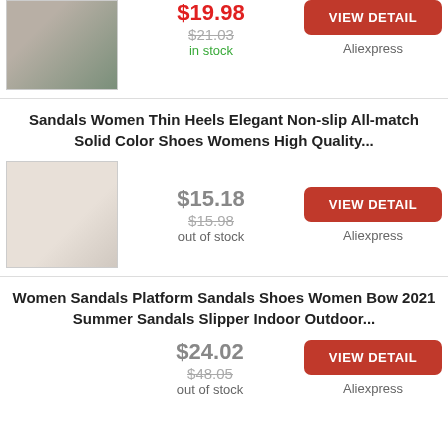[Figure (photo): Partial view of a women's heel shoe with rhinestones on a gray/green background]
$19.98
$21.03
in stock
VIEW DETAIL
Aliexpress
Sandals Women Thin Heels Elegant Non-slip All-match Solid Color Shoes Womens High Quality...
[Figure (photo): Women's strappy heeled sandal on light background]
$15.18
$15.98
out of stock
VIEW DETAIL
Aliexpress
Women Sandals Platform Sandals Shoes Women Bow 2021 Summer Sandals Slipper Indoor Outdoor...
$24.02
$48.05
out of stock
VIEW DETAIL
Aliexpress